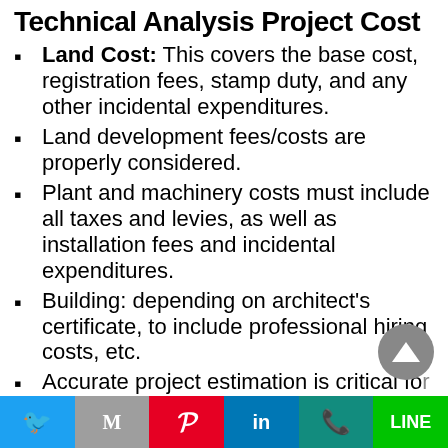Technical Analysis Project Cost
Land Cost: This covers the base cost, registration fees, stamp duty, and any other incidental expenditures.
Land development fees/costs are properly considered.
Plant and machinery costs must include all taxes and levies, as well as installation fees and incidental expenditures.
Building: depending on architect's certificate, to include professional hiring costs, etc.
Accurate project estimation is critical for meaningful financial analysis.